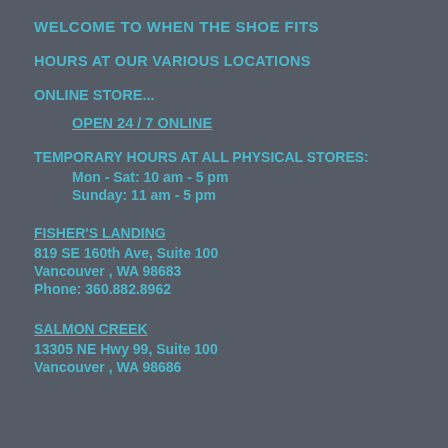WELCOME TO WHEN THE SHOE FITS
HOURS AT OUR VARIOUS LOCATIONS
ONLINE STORE...
OPEN 24 / 7 ONLINE
TEMPORARY HOURS AT ALL PHYSICAL STORES:
Mon - Sat: 10 am - 5 pm
Sunday: 11 am - 5 pm
FISHER'S LANDING
819 SE 160th Ave, Suite 100
Vancouver , WA 98683
Phone: 360.882.8962
SALMON CREEK
13305 NE Hwy 99, Suite 100
Vancouver , WA 98686